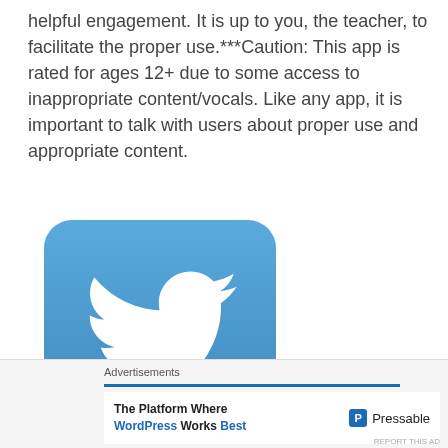helpful engagement. It is up to you, the teacher, to facilitate the proper use.***Caution: This app is rated for ages 12+ due to some access to inappropriate content/vocals. Like any app, it is important to talk with users about proper use and appropriate content.
[Figure (logo): Twitter bird logo on blue rounded square background]
[Figure (screenshot): Advertisement banner: 'The Platform Where WordPress Works Best' with Pressable logo]